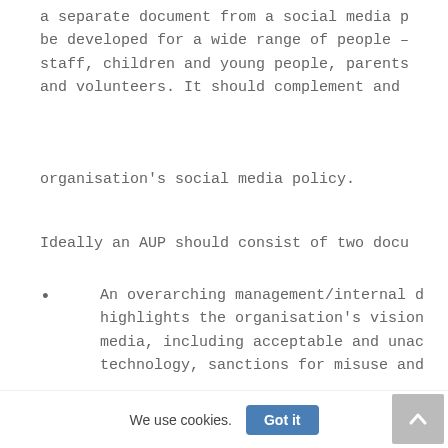a separate document from a social media p be developed for a wide range of people – staff, children and young people, parents and volunteers. It should complement and
organisation's social media policy.
Ideally an AUP should consist of two docu
An overarching management/internal d highlights the organisation's vision media, including acceptable and unac technology, sanctions for misuse and
timeline for responding to, and repo
We use cookies.
Got it